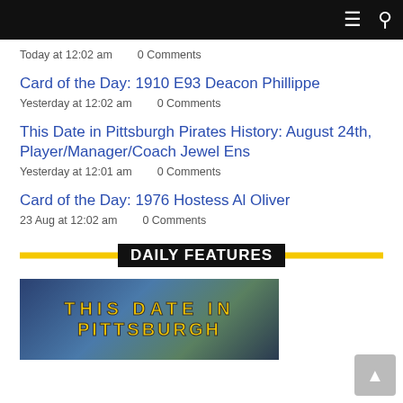Navigation bar with menu and search icons
Today at 12:02 am    0 Comments
Card of the Day: 1910 E93 Deacon Phillippe
Yesterday at 12:02 am    0 Comments
This Date in Pittsburgh Pirates History: August 24th, Player/Manager/Coach Jewel Ens
Yesterday at 12:01 am    0 Comments
Card of the Day: 1976 Hostess Al Oliver
23 Aug at 12:02 am    0 Comments
DAILY FEATURES
[Figure (photo): Photo banner with text 'THIS DATE IN PITTSBURGH' in yellow letters on a stadium/cityscape background]